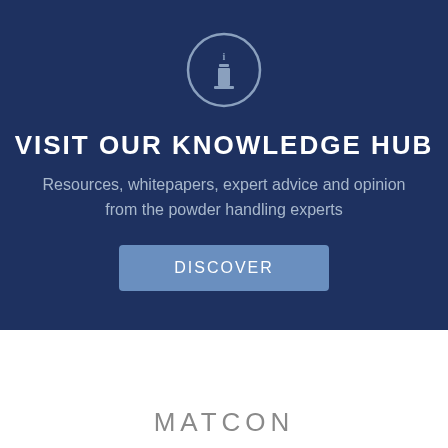[Figure (illustration): Information icon — a circle with a lowercase letter i inside, rendered in light blue/grey outline on dark navy background]
VISIT OUR KNOWLEDGE HUB
Resources, whitepapers, expert advice and opinion
from the powder handling experts
DISCOVER
MATCON